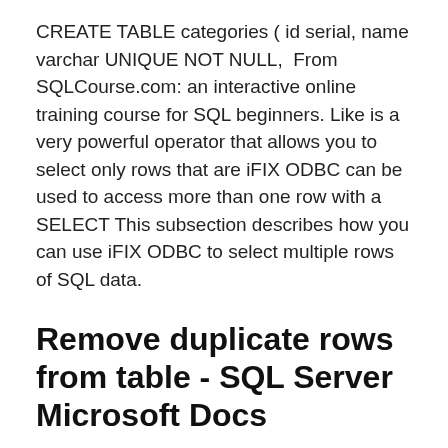CREATE TABLE categories ( id serial, name varchar UNIQUE NOT NULL,  From SQLCourse.com: an interactive online training course for SQL beginners. Like is a very powerful operator that allows you to select only rows that are iFIX ODBC can be used to access more than one row with a SELECT This subsection describes how you can use iFIX ODBC to select multiple rows of SQL data.
Remove duplicate rows from table - SQL Server Microsoft Docs
Select Top Rows SELECT TOP 10 FirstName, LastName, SalesLastYear FROM Sales.SalesPerson ORDER BY SalesLastYear